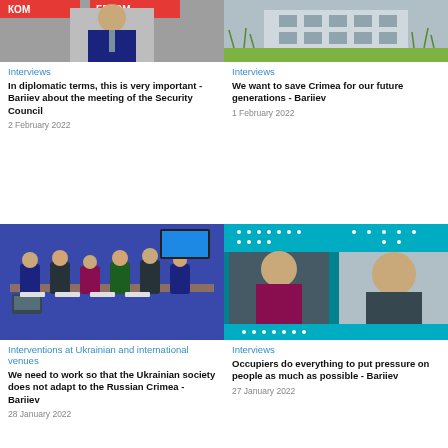[Figure (photo): Man in suit with tie at podium with logos КОМ and ГЛКОМ in background]
Interviews
In diplomatic terms, this is very important - Bariiev about the meeting of the Security Council
2 February 2022
[Figure (photo): Building exterior with grasses in foreground]
Interviews
We want to save Crimea for our future generations - Bariiev
1 February 2022
[Figure (photo): Meeting room with people seated around a table with Ukrainian flags]
Interventions at Ukrainian and international venues
We need to work so that the Ukrainian society does not adapt to the Russian Crimea - Bariiev
28 January 2022
[Figure (photo): TV interview screenshot with woman and man on screen, teal banner]
Interviews
Occupiers do everything to put pressure on people as much as possible - Bariiev
27 January 2022